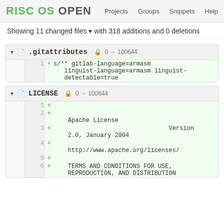RISC OS OPEN  Projects  Groups  Snippets  Help
Showing 11 changed files with 318 additions and 0 deletions
.gitattributes  0 → 100644
+ s/** gitlab-language=armasm linguist-language=armasm linguist-detectable=true
LICENSE  0 → 100644
1 +
2 +
  Apache License
3 +  Version 2.0, January 2004
4 +
  http://www.apache.org/licenses/
5 +
6 +  TERMS AND CONDITIONS FOR USE, REPRODUCTION, AND DISTRIBUTION